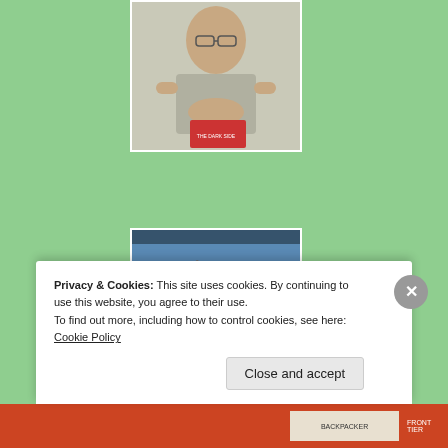[Figure (photo): A man photographed indoors, appears to be in conversation or presentation. Book or object visible in lower portion. Green background page.]
[Figure (illustration): Book/event poster for 'The Dark Side: Subverting Architecture and Landscape' featuring Ian Ritchie. Black background with rocky landscape image, white text, and event details.]
[Figure (photo): Partial view of a colorful image at the bottom of the page, partially obscured by cookie banner.]
Privacy & Cookies: This site uses cookies. By continuing to use this website, you agree to their use.
To find out more, including how to control cookies, see here: Cookie Policy
Close and accept